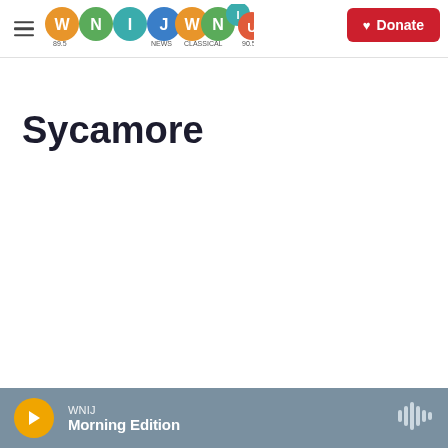WNIJ 89.5 NEWS | WNIU CLASSICAL 90.5 | Donate
Sycamore
WNIJ Morning Edition